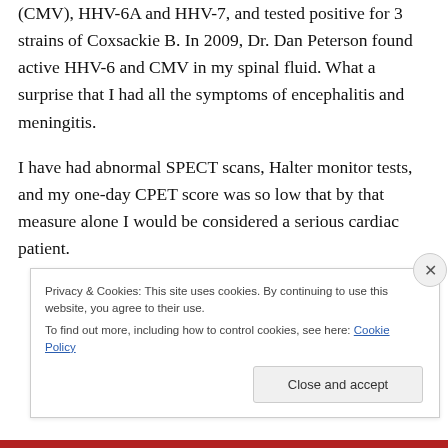(CMV), HHV-6A and HHV-7, and tested positive for 3 strains of Coxsackie B. In 2009, Dr. Dan Peterson found active HHV-6 and CMV in my spinal fluid. What a surprise that I had all the symptoms of encephalitis and meningitis.
I have had abnormal SPECT scans, Halter monitor tests, and my one-day CPET score was so low that by that measure alone I would be considered a serious cardiac patient.
Privacy & Cookies: This site uses cookies. By continuing to use this website, you agree to their use.
To find out more, including how to control cookies, see here: Cookie Policy